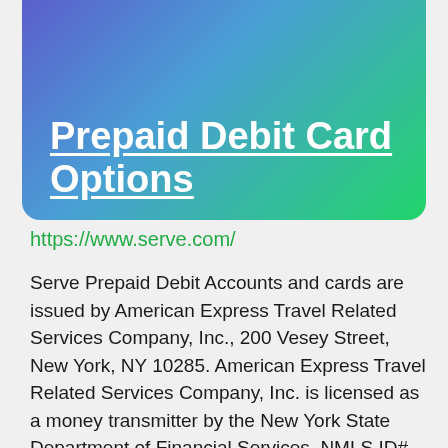Prepaid Debit Card Options
https://www.serve.com/
Serve Prepaid Debit Accounts and cards are issued by American Express Travel Related Services Company, Inc., 200 Vesey Street, New York, NY 10285. American Express Travel Related Services Company, Inc. is licensed as a money transmitter by the New York State Department of Financial Services. NMLS ID# 913828.